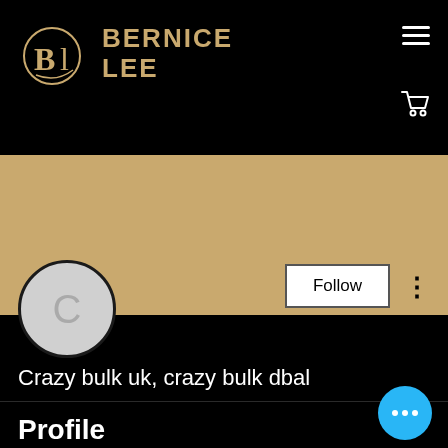[Figure (logo): Bernice Lee brand logo with BL monogram in gold oval and BERNICE LEE text in gold]
BERNICE LEE
[Figure (other): Tan/gold banner background section]
[Figure (other): Circular avatar placeholder with letter C]
Follow
Crazy bulk uk, crazy bulk dbal
Profile
Join date: May 18, 2022